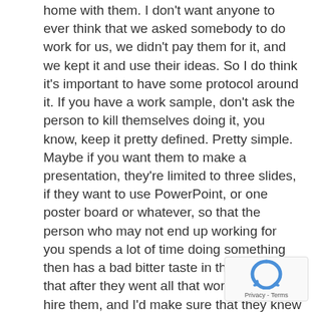home with them. I don't want anyone to ever think that we asked somebody to do work for us, we didn't pay them for it, and we kept it and use their ideas. So I do think it's important to have some protocol around it. If you have a work sample, don't ask the person to kill themselves doing it, you know, keep it pretty defined. Pretty simple. Maybe if you want them to make a presentation, they're limited to three slides, if they want to use PowerPoint, or one poster board or whatever, so that the person who may not end up working for you spends a lot of time doing something then has a bad bitter taste in their mouth that after they went all that work, you didn't hire them, and I'd make sure that they knew you weren't planning on using their material. Give it back to them, be appreciative of it, and then use it just as one of your data points. JoDee, what about you?
JoDee 49:08
Yeah, I agree. I have to tell you I'm a bit impressed with the company, that they had to go through th kind of process. Now, again, I would agree with Susan, that we shouldn't be asking for excessive presentations or an excessive amount of work to be